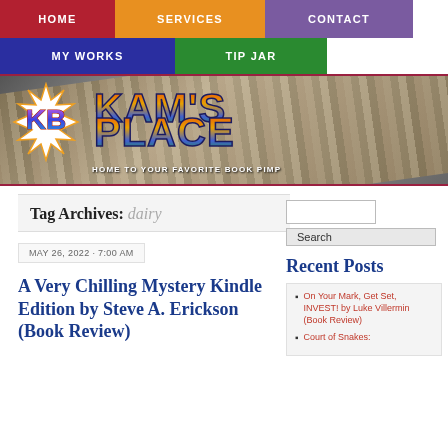HOME | SERVICES | CONTACT | MY WORKS | TIP JAR
[Figure (illustration): Kam's Place blog banner with KB logo starburst and colorful comic-style text reading KAM'S PLACE, Home to Your Favorite Book Pimp]
Tag Archives: dairy
MAY 26, 2022 · 7:00 AM
A Very Chilling Mystery Kindle Edition by Steve A. Erickson (Book Review)
Recent Posts
On Your Mark, Get Set, INVEST! by Luke Villermin (Book Review)
Court of Snakes: